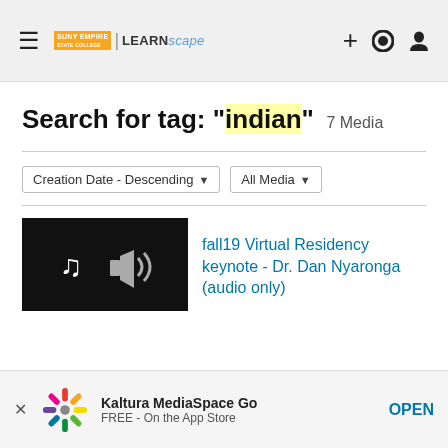SUNY EMPIRE | LEARNscape — navigation header with hamburger menu, logo, plus, contrast, and user icons
Search for tag: "indian"
7 Media
Creation Date - Descending   All Media
[Figure (screenshot): Black thumbnail with music note and speaker icon for a media result]
fall19 Virtual Residency keynote - Dr. Dan Nyaronga (audio only)
Kaltura MediaSpace Go
FREE - On the App Store
OPEN